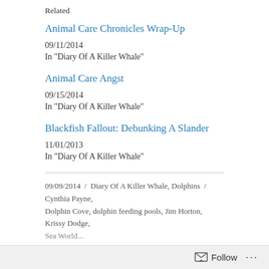Related
Animal Care Chronicles Wrap-Up
09/11/2014
In "Diary Of A Killer Whale"
Animal Care Angst
09/15/2014
In "Diary Of A Killer Whale"
Blackfish Fallout: Debunking A Slander
11/01/2013
In "Diary Of A Killer Whale"
09/09/2014  /  Diary Of A Killer Whale, Dolphins  /  Cynthia Payne, Dolphin Cove, dolphin feeding pools, Jim Horton, Krissy Dodge,
Follow